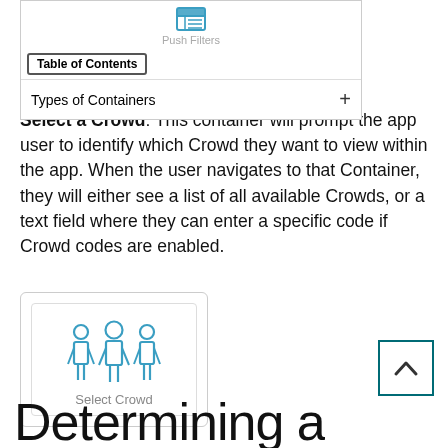[Figure (screenshot): UI screenshot showing a Table of Contents panel with 'Push Filters' icon at top and 'Types of Containers' item with a + button]
Select a Crowd: This container will prompt the app user to identify which Crowd they want to view within the app. When the user navigates to that Container, they will either see a list of all available Crowds, or a text field where they can enter a specific code if Crowd codes are enabled.
[Figure (screenshot): UI card showing three blue person icons (Select Crowd container icon) with 'Select Crowd' label below]
[Figure (screenshot): Back-to-top button with upward chevron arrow, teal border]
Determining a